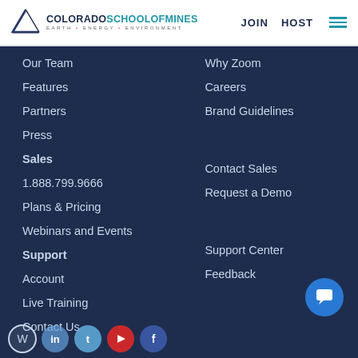[Figure (logo): Colorado School of Mines logo with triangle icon and text: COLORADOSCHOOLOFMINES, EARTH • ENERGY • ENVIRONMENT]
JOIN   HOST   ☰
Our Team
Why Zoom
Features
Careers
Partners
Brand Guidelines
Press
Sales
1.888.799.9666
Contact Sales
Plans & Pricing
Request a Demo
Webinars and Events
Support
Account
Support Center
Live Training
Feedback
Contact Us
[Figure (illustration): Blue chat/support button (circle with speech bubble icon)]
[Figure (illustration): Social media icons row: WordPress, LinkedIn, Twitter, YouTube, Facebook]